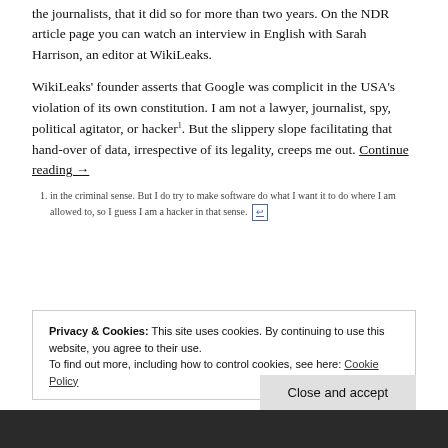the journalists, that it did so for more than two years. On the NDR article page you can watch an interview in English with Sarah Harrison, an editor at WikiLeaks.
WikiLeaks' founder asserts that Google was complicit in the USA's violation of its own constitution. I am not a lawyer, journalist, spy, political agitator, or hacker¹. But the slippery slope facilitating that hand-over of data, irrespective of its legality, creeps me out. Continue reading →
1. in the criminal sense. But I do try to make software do what I want it to do where I am allowed to, so I guess I am a hacker in that sense. [↩]
Privacy & Cookies: This site uses cookies. By continuing to use this website, you agree to their use. To find out more, including how to control cookies, see here: Cookie Policy
Close and accept